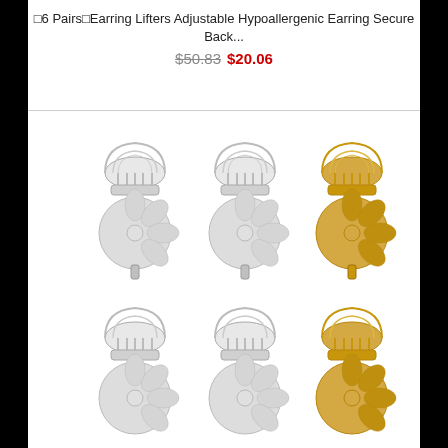□6 Pairs□Earring Lifters Adjustable Hypoallergenic Earring Secure Back...
$50.83  $20.06
[Figure (photo): Six earring lifter backs arranged in two rows of three. The top row shows two silver/white metal earring lifters and one gold earring lifter on the right. The bottom row shows the same arrangement cropped at the bottom of the image. Each earring lifter has a crown-shaped top and a decorative flower-petal disc base with a post mechanism.]